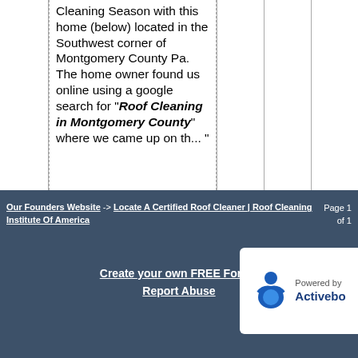Cleaning Season with this home (below) located in the Southwest corner of Montgomery County Pa. The home owner found us online using a google search for "Roof Cleaning in Montgomery County" where we came up on th... "
Our Founders Website -> Locate A Certified Roof Cleaner | Roof Cleaning Institute Of America   Page 1 of 1
Create your own FREE Forum
Report Abuse
[Figure (logo): Powered by Activeboard logo with blue icon figure and text]